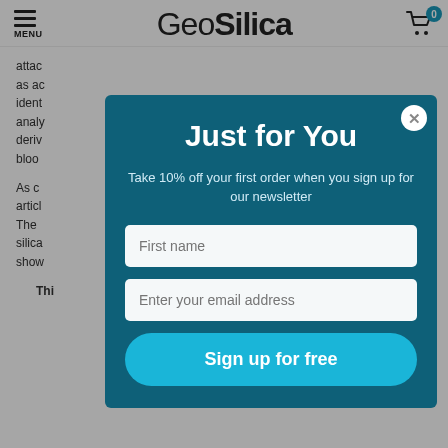MENU | GeoSilica | Cart 0
attac
as ac
ident
analy
deriv
bloo

As c
articl
The 
silica
show

This
[Figure (screenshot): Newsletter signup modal overlay with teal/dark background. Title: 'Just for You'. Subtitle: 'Take 10% off your first order when you sign up for our newsletter'. Inputs for First name and email. 'Sign up for free' button.]
Just for You
Take 10% off your first order when you sign up for our newsletter
First name
Enter your email address
Sign up for free